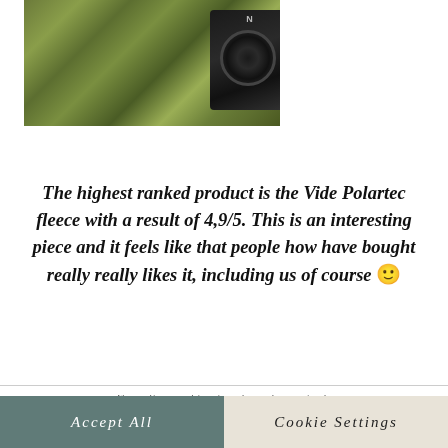[Figure (photo): Partial photo showing moss/lichen covered rocks on the left and a black camera lens (Nikon) on the right, cropped at the top of the page.]
The highest ranked product is the Vide Polartec fleece with a result of 4,9/5. This is an interesting piece and it feels like that people how have bought really really likes it, including us of course 🙂
We use cookies on our website to give you the most relevant experience by remembering your preferences and repeat visits. By clicking "Accept all", you consent to the use of all the cookies. However, you may visit "Cookie Settings" to provide a controlled consent. Read our privacy policy here.
Accept All
Cookie Settings